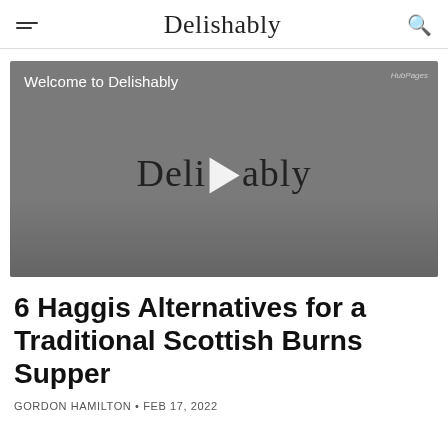Delishably
[Figure (screenshot): Video thumbnail with gray background showing 'Welcome to Delishably' text, a Delishably script logo with a play button in the center, and a HubPages badge in the top right corner.]
6 Haggis Alternatives for a Traditional Scottish Burns Supper
GORDON HAMILTON • FEB 17, 2022